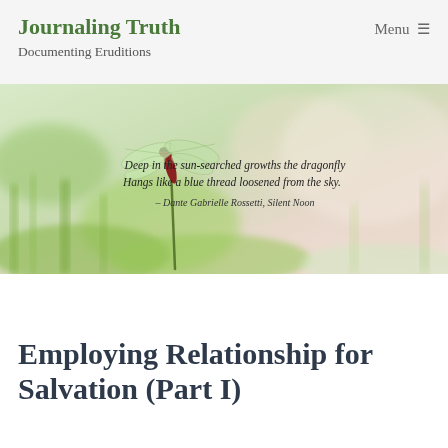Journaling Truth
Documenting Eruditions
Menu ≡
[Figure (photo): A dragonfly perched on a green stem in a bright, blurred green and pink background. Overlaid italic text reads: 'Deep in the sun-searched growths the dragonfly / Hangs like a blue thread loosened from the sky. / – Dante Gabrielle Rossetti, Silent Noon']
Employing Relationship for Salvation (Part I)